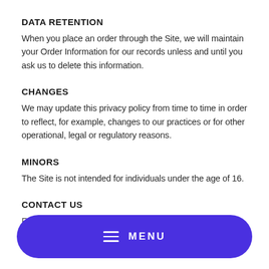DATA RETENTION
When you place an order through the Site, we will maintain your Order Information for our records unless and until you ask us to delete this information.
CHANGES
We may update this privacy policy from time to time in order to reflect, for example, changes to our practices or for other operational, legal or regulatory reasons.
MINORS
The Site is not intended for individuals under the age of 16.
CONTACT US
For more information about our privacy practices, if you have…